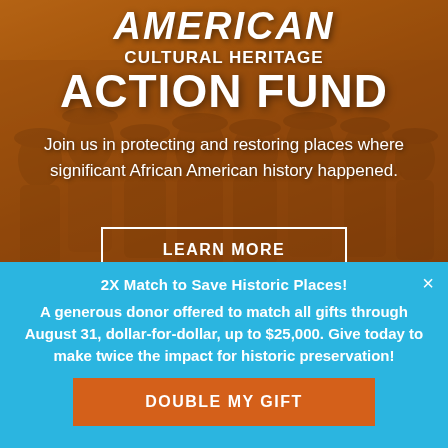[Figure (photo): Historical sepia-toned photograph of a group of African American soldiers or workers, used as the background of the African American Cultural Heritage Action Fund promotional banner.]
AMERICAN CULTURAL HERITAGE ACTION FUND
Join us in protecting and restoring places where significant African American history happened.
LEARN MORE
2X Match to Save Historic Places!
A generous donor offered to match all gifts through August 31, dollar-for-dollar, up to $25,000. Give today to make twice the impact for historic preservation!
DOUBLE MY GIFT